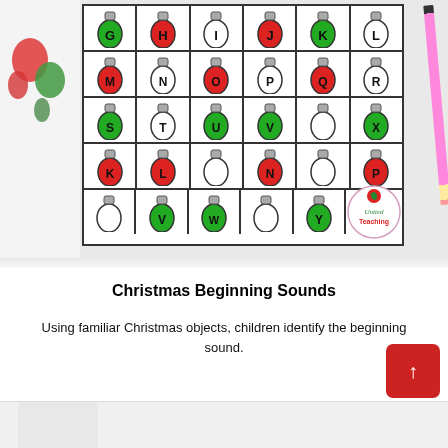[Figure (photo): Photo of a Christmas beginning sounds worksheet with colorful light bulb letters (M, N, O, P, Q, R, S, T, U, V, X, K, L, N, P, V, W, Y) in red, green, and white. A pencil and green/red decorative pieces are visible. A United Teaching logo circle is in the bottom right of the photo.]
Christmas Beginning Sounds
Using familiar Christmas objects, children identify the beginning sound.